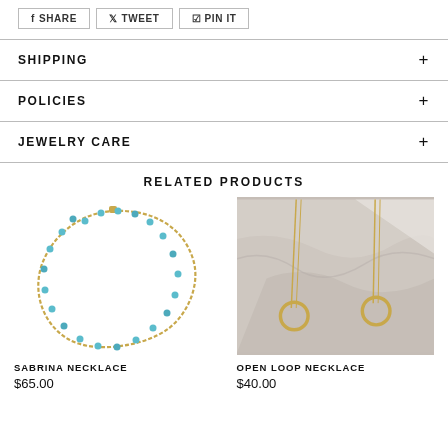SHARE | TWEET | PIN IT
SHIPPING +
POLICIES +
JEWELRY CARE +
RELATED PRODUCTS
[Figure (photo): Sabrina Necklace – gold chain with small turquoise bead drops]
SABRINA NECKLACE
$65.00
[Figure (photo): Open Loop Necklace – two gold necklaces with open circle pendants on marble background]
OPEN LOOP NECKLACE
$40.00